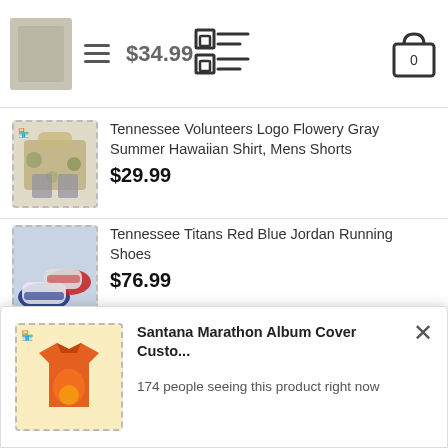$34.99
Tennessee Volunteers Logo Flowery Gray Summer Hawaiian Shirt, Mens Shorts — $29.99
Tennessee Titans Red Blue Jordan Running Shoes — $76.99
Anne Stokes Pirate Skulls Gift T-Shirts — $29.99
TOP RATED
[Figure (screenshot): Notification popup: Santana Marathon Album Cover Custo... — 174 people seeing this product right now. With product thumbnail of an orange/red graphic t-shirt and a close (×) button.]